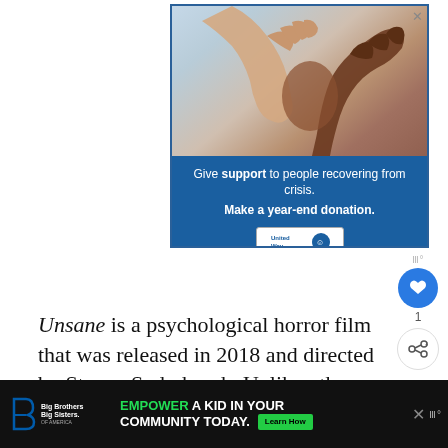[Figure (infographic): United Way advertisement showing two hands clasped together (one lighter, one darker skin tone) against a light sky background, with blue text panel below reading 'Give support to people recovering from crisis. Make a year-end donation.' with United Way logo. An X close button appears in top right corner.]
Unsane is a psychological horror film that was released in 2018 and directed by Steven Soderbergh. Unlike others on this list, the fi...
[Figure (infographic): Bottom banner ad showing Big Brothers Big Sisters logo on left, center text 'EMPOWER A KID IN YOUR COMMUNITY TODAY.' with green Learn How button, and close X button and social share icons on right.]